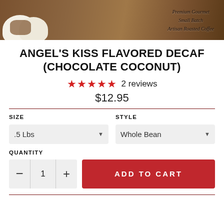[Figure (photo): Product image showing marshmallows with chocolate and coconut on coffee beans background, with text overlay reading 'Premium Gourmet Small Batch Artisan Roasted Coffee']
ANGEL'S KISS FLAVORED DECAF (CHOCOLATE COCONUT)
★★★★★ 2 reviews
$12.95
SIZE
.5 Lbs
STYLE
Whole Bean
QUANTITY
ADD TO CART